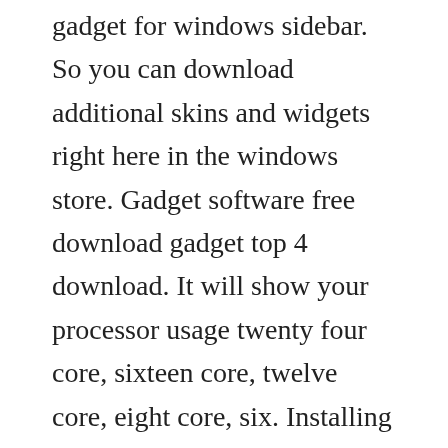gadget for windows sidebar. So you can download additional skins and widgets right here in the windows store. Gadget software free download gadget top 4 download. It will show your processor usage twenty four core, sixteen core, twelve core, eight core, six. Installing desktop gadgets for windows 10 win10gadgets. Download gadget samples for windows sidebar from official.
Oct 26, 2016 after installing 8gadgetpack or gadgets revived, you can just rightclick your windows desktop and select gadgets. Widget